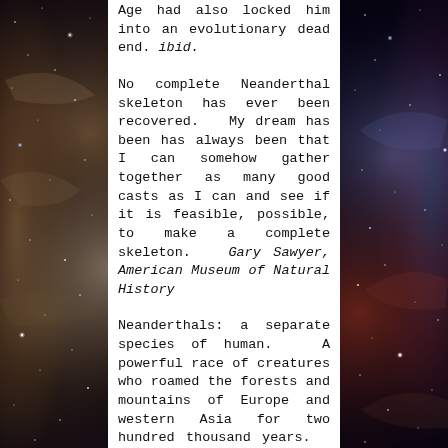[Figure (photo): Space nebula background image with colorful clouds of gas and stars visible on left and right sides of the page, flanking a white central content panel.]
Age had also locked him into an evolutionary dead end. ibid.
No complete Neanderthal skeleton has ever been recovered. My dream has been has always been that I can somehow gather together as many good casts as I can and see if it is feasible, possible, to make a complete skeleton. Gary Sawyer, American Museum of Natural History
Neanderthals: a separate species of human. A powerful race of creatures who roamed the forests and mountains of Europe and western Asia for two hundred thousand years. Neanderthals: Sci-Trek, 2009